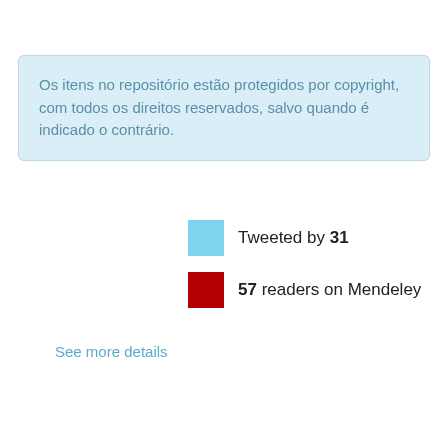Os itens no repositório estão protegidos por copyright, com todos os direitos reservados, salvo quando é indicado o contrário.
Tweeted by 31
57 readers on Mendeley
See more details